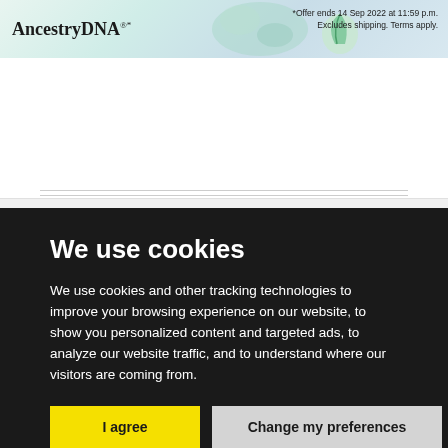[Figure (screenshot): AncestryDNA advertisement banner with logo and offer text '*Offer ends 14 Sep 2022 at 11:59 p.m. Excludes shipping. Terms apply.']
[Figure (photo): Strip of book covers including a book titled VOICES and other genealogy/history books]
We use cookies
We use cookies and other tracking technologies to improve your browsing experience on our website, to show you personalized content and targeted ads, to analyze our website traffic, and to understand where our visitors are coming from.
I agree
Change my preferences